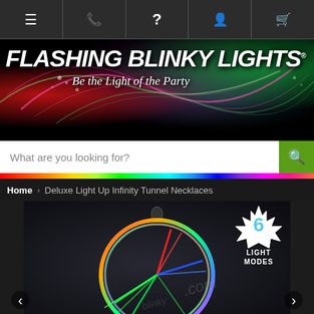Navigation bar with menu, phone, help, account, and cart icons
[Figure (logo): Flashing Blinky Lights logo — colorful text on black background with neon light wave effects and tagline 'Be the Light of the Party']
What are you looking for?
Home > Deluxe Light Up Infinity Tunnel Necklaces
[Figure (photo): Product photo of a Deluxe Light Up Infinity Tunnel Necklace glowing with multicolor LED lights (red, green, blue) in a circular transparent casing, with a badge showing '6 LIGHT MODES' on a white starburst background. Navigation arrows visible at bottom left and right.]